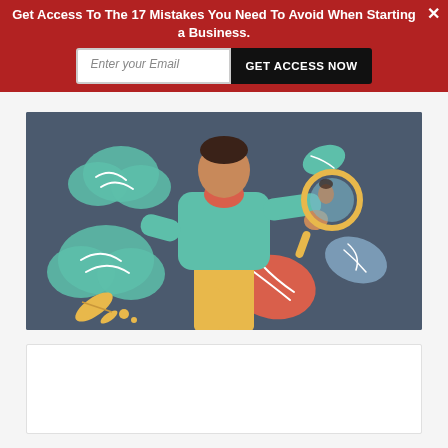Get Access To The 17 Mistakes You Need To Avoid When Starting a Business.
Enter your Email | GET ACCESS NOW
[Figure (illustration): Illustrated person in teal sweater and yellow pants holding a magnifying mirror, surrounded by colorful leaf and cloud shapes on a dark blue-grey background.]